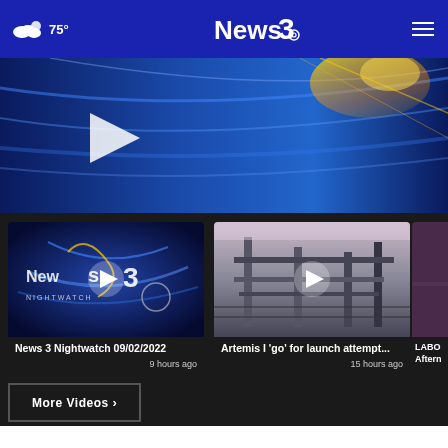75° News 3 [hamburger menu]
[Figure (screenshot): Hero video thumbnail showing News 3 broadcast graphic with blue streaks and golden light flare, with a large play button triangle overlay]
[Figure (screenshot): Video thumbnail: News 3 Nightwatch logo on blue swirl background with play button]
News 3 Nightwatch 09/02/2022
9 hours ago
[Figure (screenshot): Video thumbnail: Industrial structure/water tower exterior photo with play button]
Artemis I 'go' for launch attempt...
15 hours ago
[Figure (screenshot): Partial video card: LABOR Aftern... (partially visible)]
More Videos ›